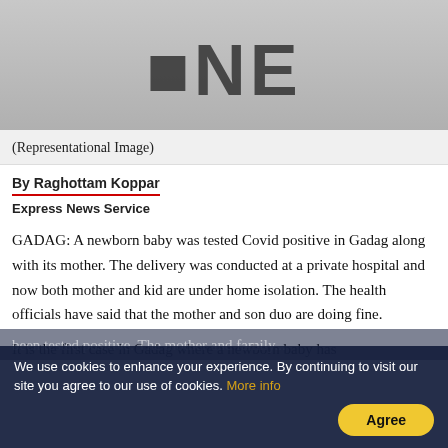[Figure (photo): Representational image showing partial logo/text on a gray background]
(Representational Image)
By Raghottam Koppar
Express News Service
GADAG: A newborn baby was tested Covid positive in Gadag along with its mother. The delivery was conducted at a private hospital and now both mother and kid are under home isolation. The health officials have said that the mother and son duo are doing fine.
It is the first case in Gadag where a newborn baby has been tested positive. The mother and family...
We use cookies to enhance your experience. By continuing to visit our site you agree to our use of cookies. More info